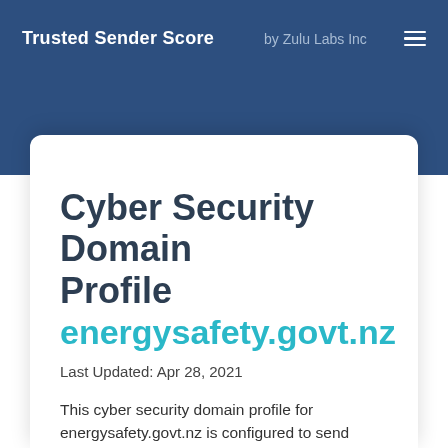Trusted Sender Score by Zulu Labs Inc
Cyber Security Domain Profile energysafety.govt.nz
Last Updated: Apr 28, 2021
This cyber security domain profile for energysafety.govt.nz is configured to send